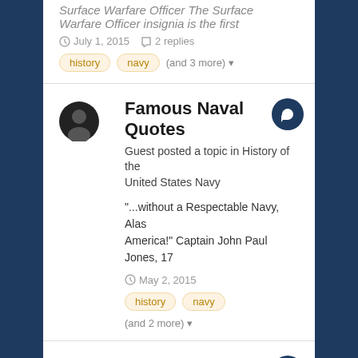Surface Warfare Officer The Surface Warfare Officer insignia is the first
July 1, 2015  2 replies
history
navy
(and 3 more)
Famous Naval Quotes
Guest posted a topic in History of the United States Navy
"...without a Respectable Navy, Alas America!" Captain John Paul Jones, 17
May 2, 2015
history
navy
(and 2 more)
The history of the USS CONSTITUTION